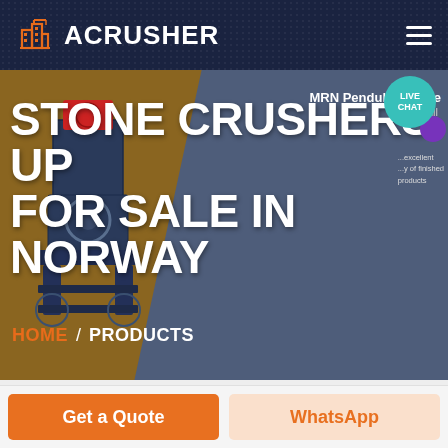[Figure (screenshot): ACRUSHER website navigation bar with orange building logo icon, white bold brand name 'ACRUSHER', and hamburger menu icon on dark navy background with dot pattern]
[Figure (screenshot): Hero banner showing stone crusher machine on brown/gold background on left, gray-blue background on right with MRN Pendulum Roller Mill text and product description. Live chat teal bubble in top right. Large white bold title text and orange/white breadcrumb navigation.]
STONE CRUSHERS UP FOR SALE IN NORWAY
HOME / PRODUCTS
MRN Pendulum Roller Mill ...excellent ...y of finished products
Get a Quote
WhatsApp